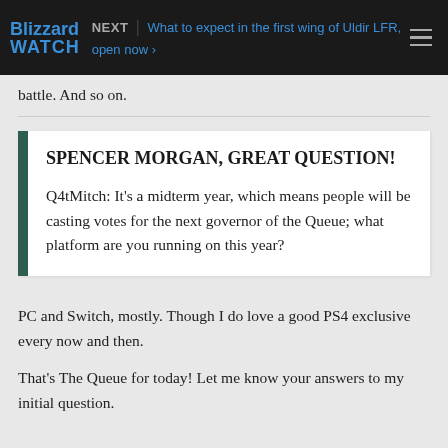NEXT | What to expect in the first wing of Uldir LFR, open now
battle. And so on.
SPENCER MORGAN, GREAT QUESTION!
Q4tMitch: It's a midterm year, which means people will be casting votes for the next governor of the Queue; what platform are you running on this year?
PC and Switch, mostly. Though I do love a good PS4 exclusive every now and then.
That's The Queue for today! Let me know your answers to my initial question.